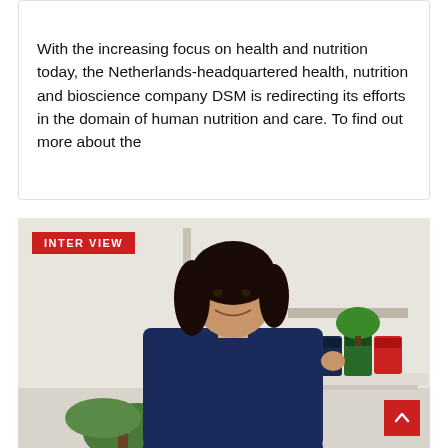With the increasing focus on health and nutrition today, the Netherlands-headquartered health, nutrition and bioscience company DSM is redirecting its efforts in the domain of human nutrition and care. To find out more about the
[Figure (photo): A woman in a navy blue blazer smiling and pointing at colorful canned beverages on a white table. There are potted plants in the background. An 'INTERVIEW' badge is overlaid in the top-left corner of the image.]